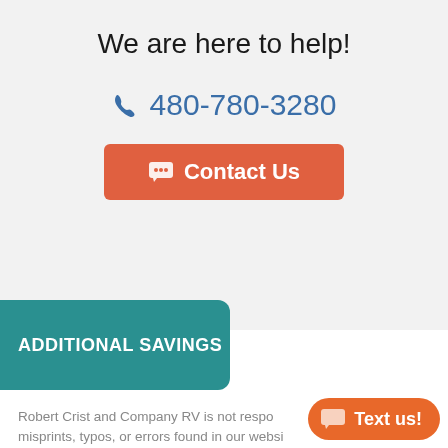We are here to help!
480-780-3280
Contact Us
ADDITIONAL SAVINGS
Robert Crist and Company RV is not responsible for misprints, typos, or errors found in our website pages. Any price listed excludes sales tax, registration tags, prep and
Text us!